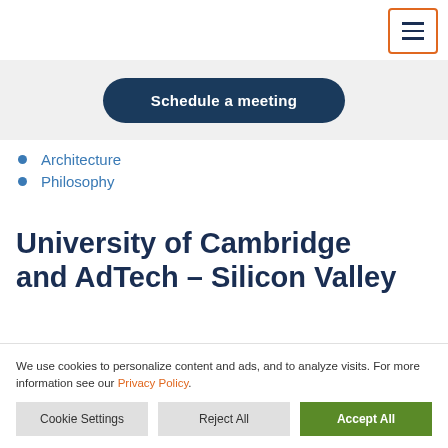[Figure (other): Hamburger menu button with three horizontal lines, orange border]
Schedule a meeting
Architecture
Philosophy
University of Cambridge and AdTech – Silicon Valley
We use cookies to personalize content and ads, and to analyze visits. For more information see our Privacy Policy.
Cookie Settings | Reject All | Accept All